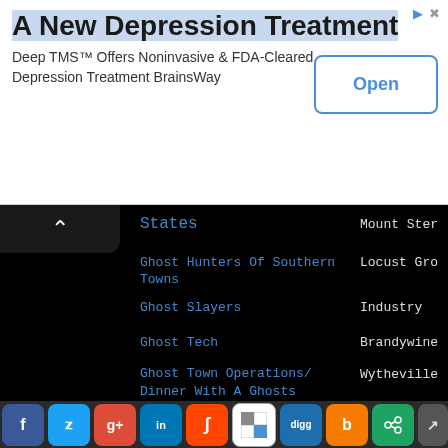[Figure (other): Advertisement banner: 'A New Depression Treatment' with 'Open' button. Deep TMS Offers Noninvasive & FDA-Cleared Depression Treatment BrainsWay]
States — Mount Ster...
Ghost Hunters Of Southern Towns — Locust Gro...
Ghost Slayers — Industry
Ghost Tech — Brandywine...
Ghost Town Operations/ Dinner With A Ghosts — Wytheville
Ghosting 12 Paranormal Investigations/Historical Research — East Liverp...
Ghostly Gateway Paranormal Investigations — Columbus
Ghostwolf Paranormal — Akron
[Figure (other): Social media sharing bar with Facebook, Twitter, Google+, LinkedIn, StumbleUpon, WordPress, Digg, Blogger, Share icons]